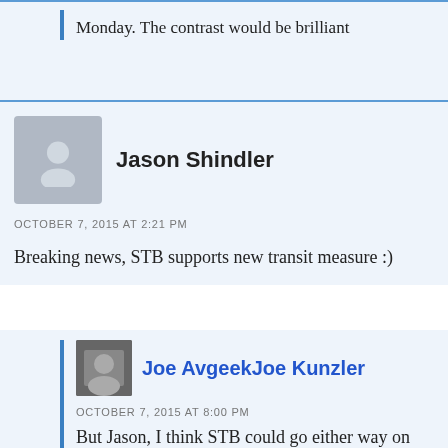Monday. The contrast would be brilliant
Jason Shindler
OCTOBER 7, 2015 AT 2:21 PM
Breaking news, STB supports new transit measure :)
Joe AvgeekJoe Kunzler
OCTOBER 7, 2015 AT 8:00 PM
But Jason, I think STB could go either way on ST3.... very much a knife edge if the